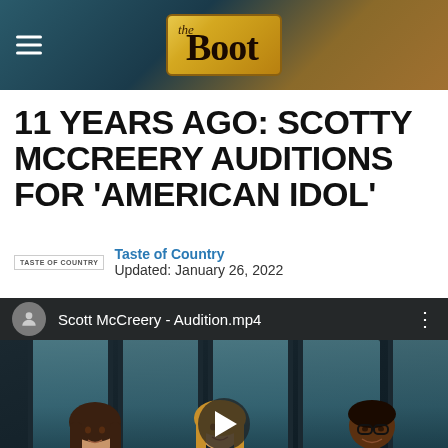the Boot
11 YEARS AGO: SCOTTY MCCREERY AUDITIONS FOR 'AMERICAN IDOL'
Taste of Country
Updated: January 26, 2022
[Figure (screenshot): Video thumbnail showing three American Idol judges seated at a table with Coca-Cola cups, with a video player overlay showing title 'Scott McCreery - Audition.mp4' and a play button.]